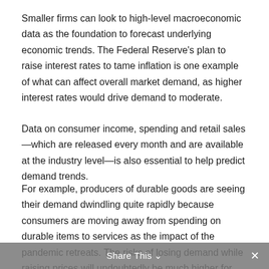Smaller firms can look to high-level macroeconomic data as the foundation to forecast underlying economic trends. The Federal Reserve's plan to raise interest rates to tame inflation is one example of what can affect overall market demand, as higher interest rates would drive demand to moderate.
Data on consumer income, spending and retail sales—which are released every month and are available at the industry level—is also essential to help predict demand trends.
For example, producers of durable goods are seeing their demand dwindling quite rapidly because consumers are moving away from spending on durable items to services as the impact of the pandemic retreats. The risks of losing demand while raising prices will undoubtedly be much higher for goods producers than service providers.
Share This ×